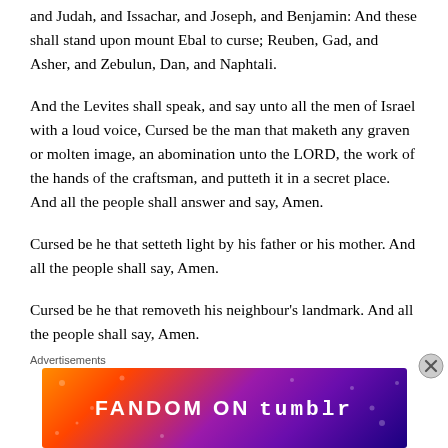and Judah, and Issachar, and Joseph, and Benjamin: And these shall stand upon mount Ebal to curse; Reuben, Gad, and Asher, and Zebulun, Dan, and Naphtali.
And the Levites shall speak, and say unto all the men of Israel with a loud voice, Cursed be the man that maketh any graven or molten image, an abomination unto the LORD, the work of the hands of the craftsman, and putteth it in a secret place. And all the people shall answer and say, Amen.
Cursed be he that setteth light by his father or his mother. And all the people shall say, Amen.
Cursed be he that removeth his neighbour's landmark. And all the people shall say, Amen.
Advertisements
[Figure (other): FANDOM ON tumblr advertisement banner with colorful gradient background (orange to purple)]